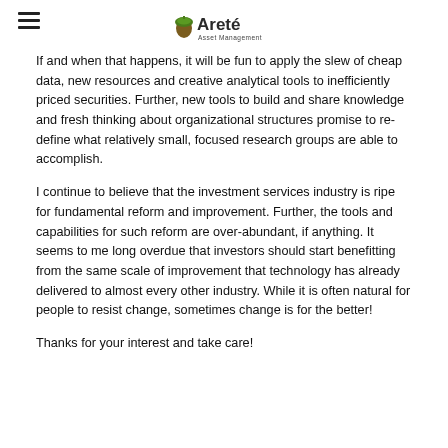Areté Asset Management
If and when that happens, it will be fun to apply the slew of cheap data, new resources and creative analytical tools to inefficiently priced securities. Further, new tools to build and share knowledge and fresh thinking about organizational structures promise to re-define what relatively small, focused research groups are able to accomplish.
I continue to believe that the investment services industry is ripe for fundamental reform and improvement. Further, the tools and capabilities for such reform are over-abundant, if anything. It seems to me long overdue that investors should start benefitting from the same scale of improvement that technology has already delivered to almost every other industry. While it is often natural for people to resist change, sometimes change is for the better!
Thanks for your interest and take care!